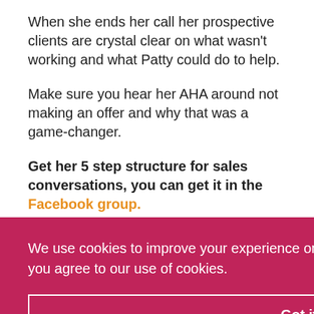When she ends her call her prospective clients are crystal clear on what wasn't working and what Patty could do to help.
Make sure you hear her AHA around not making an offer and why that was a game-changer.
Get her 5 step structure for sales conversations, you can get it in the Facebook group.
We use cookies to improve your experience on our website. By browsing this website, you agree to our use of cookies.
Got it!
also shares her marketing calendar structure that